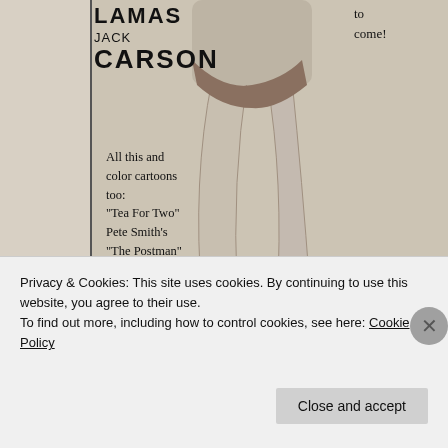LAMAS JACK CARSON
All this and color cartoons too: "Tea For Two" Pete Smith's "The Postman"
to come!
[Figure (illustration): Vintage black and white advertisement showing a pair of legs from the torso down, with a cartoon character (dog/animal face) in the lower right of the image area]
C'mon on in. The Technicolor is fine!
An ideal warm weather
Privacy & Cookies: This site uses cookies. By continuing to use this website, you agree to their use. To find out more, including how to control cookies, see here: Cookie Policy
Close and accept